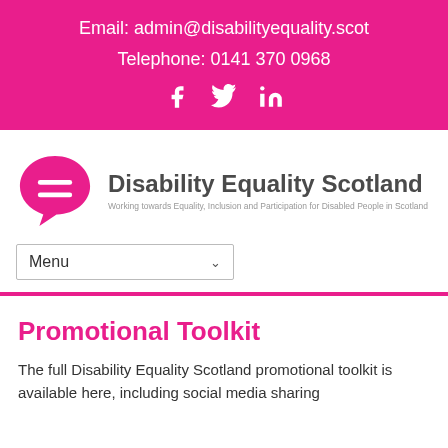Email: admin@disabilityequality.scot
Telephone: 0141 370 0968
[Figure (illustration): Social media icons: Facebook, Twitter, LinkedIn in white on pink background]
[Figure (logo): Disability Equality Scotland logo with pink speech bubble containing equals sign, and text 'Disability Equality Scotland - Working towards Equality, Inclusion and Participation for Disabled People in Scotland']
Menu
Promotional Toolkit
The full Disability Equality Scotland promotional toolkit is available here, including social media sharing